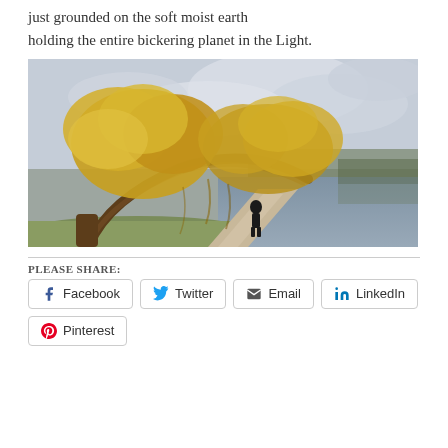just grounded on the soft moist earth
holding the entire bickering planet in the Light.
[Figure (photo): A large willow tree with golden-yellow autumn foliage arching over a gravel path beside a calm river. A person in dark clothing walks under the canopy. Overcast sky with dramatic clouds in the background, trees reflected in the water.]
PLEASE SHARE:
Facebook
Twitter
Email
LinkedIn
Pinterest